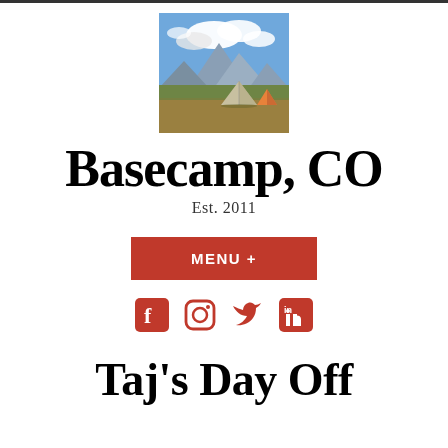[Figure (photo): A camping scene with orange tents in a flat desert landscape, mountains and dramatic cloudy sky in the background.]
Basecamp, CO
Est. 2011
MENU +
[Figure (infographic): Social media icons: Facebook, Instagram, Twitter, LinkedIn — all in red.]
Taj's Day Off